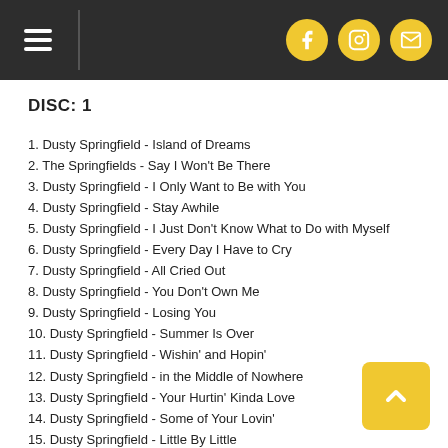Navigation header with hamburger menu and social icons (Facebook, Instagram, Email)
DISC: 1
1. Dusty Springfield - Island of Dreams
2. The Springfields - Say I Won't Be There
3. Dusty Springfield - I Only Want to Be with You
4. Dusty Springfield - Stay Awhile
5. Dusty Springfield - I Just Don't Know What to Do with Myself
6. Dusty Springfield - Every Day I Have to Cry
7. Dusty Springfield - All Cried Out
8. Dusty Springfield - You Don't Own Me
9. Dusty Springfield - Losing You
10. Dusty Springfield - Summer Is Over
11. Dusty Springfield - Wishin' and Hopin'
12. Dusty Springfield - in the Middle of Nowhere
13. Dusty Springfield - Your Hurtin' Kinda Love
14. Dusty Springfield - Some of Your Lovin'
15. Dusty Springfield - Little By Little
16. Dusty Springfield - You Don't Have to Say You Love Me
17. Dusty Springfield - Goin' Back